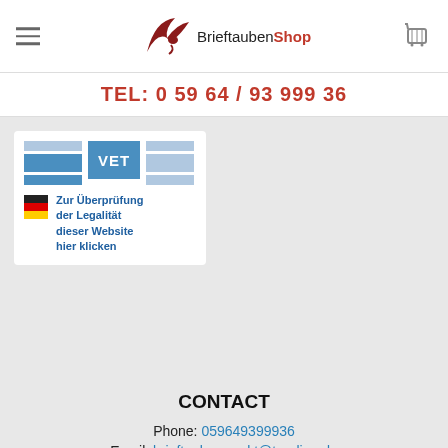BrieftaubenShop — TEL: 0 59 64 / 93 999 36
[Figure (logo): VET certification badge with German flag and text: Zur Überprüfung der Legalität dieser Website hier klicken]
CONTACT
Phone: 059649399936
Email: brieftaubenmarkt@t-online.de